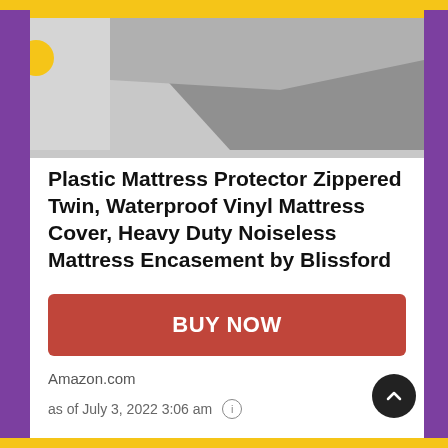[Figure (photo): Partial product photo of a gray mattress protector/encasement on a mattress, viewed from above at an angle. Image is cropped.]
Plastic Mattress Protector Zippered Twin, Waterproof Vinyl Mattress Cover, Heavy Duty Noiseless Mattress Encasement by Blissford
BUY NOW
Amazon.com
as of July 3, 2022 3:06 am ℹ